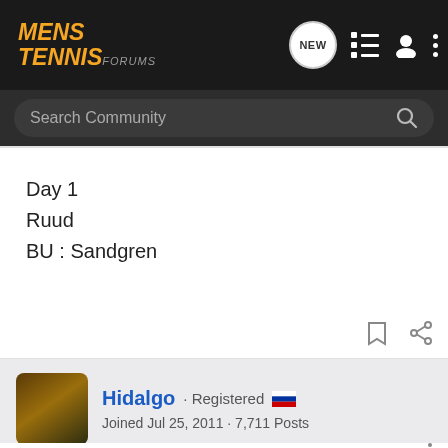MENS TENNIS FORUMS
Search Community
Day 1
Ruud
BU : Sandgren
Hidalgo · Registered
Joined Jul 25, 2011 · 7,711 Posts
#11 · Jan 12, 2020
Day 1: Sandgren